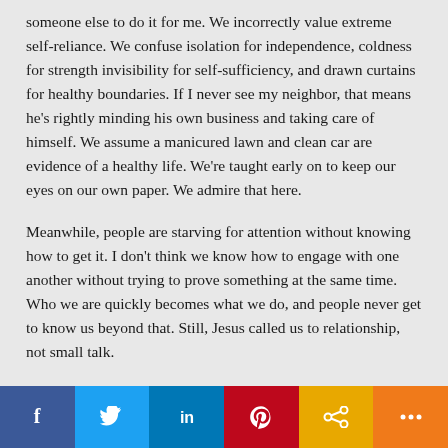someone else to do it for me. We incorrectly value extreme self-reliance. We confuse isolation for independence, coldness for strength invisibility for self-sufficiency, and drawn curtains for healthy boundaries. If I never see my neighbor, that means he's rightly minding his own business and taking care of himself. We assume a manicured lawn and clean car are evidence of a healthy life. We're taught early on to keep our eyes on our own paper. We admire that here.
Meanwhile, people are starving for attention without knowing how to get it. I don't think we know how to engage with one another without trying to prove something at the same time. Who we are quickly becomes what we do, and people never get to know us beyond that. Still, Jesus called us to relationship, not small talk.
So here's the thing, as Christians who care deeply about those
[Figure (other): Social media sharing bar with icons: Facebook (blue), Twitter (light blue), LinkedIn (dark blue), Pinterest (red), Share/link (amber/gold), More (orange)]